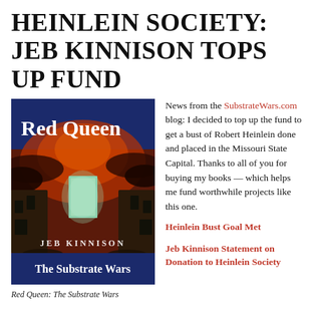HEINLEIN SOCIETY: JEB KINNISON TOPS UP FUND
[Figure (illustration): Book cover of 'Red Queen: The Substrate Wars' by Jeb Kinnison, showing a dramatic post-apocalyptic scene with a glowing doorway amid ruins under a red sky, with bold white text 'Red Queen' and dark blue banner area showing 'The Substrate Wars']
Red Queen: The Substrate Wars
News from the SubstrateWars.com blog: I decided to top up the fund to get a bust of Robert Heinlein done and placed in the Missouri State Capital. Thanks to all of you for buying my books — which helps me fund worthwhile projects like this one.
Heinlein Bust Goal Met
Jeb Kinnison Statement on Donation to Heinlein Society